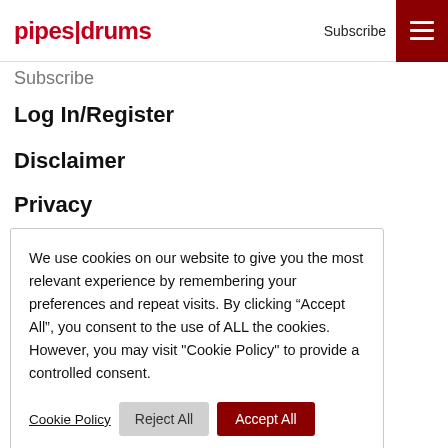pipes|drums  Subscribe
Subscribe
Log In/Register
Disclaimer
Privacy
We use cookies on our website to give you the most relevant experience by remembering your preferences and repeat visits. By clicking “Accept All”, you consent to the use of ALL the cookies. However, you may visit "Cookie Policy" to provide a controlled consent.